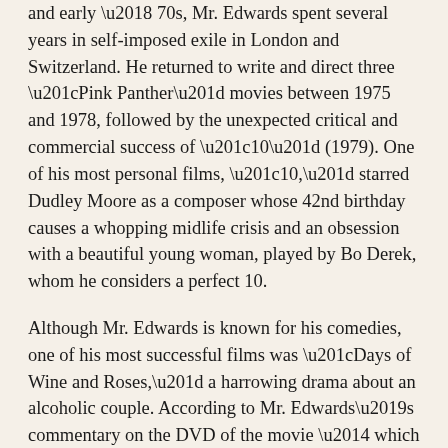and early '70s, Mr. Edwards spent several years in self-imposed exile in London and Switzerland. He returned to write and direct three “Pink Panther” movies between 1975 and 1978, followed by the unexpected critical and commercial success of “10” (1979). One of his most personal films, “10,” starred Dudley Moore as a composer whose 42nd birthday causes a whopping midlife crisis and an obsession with a beautiful young woman, played by Bo Derek, whom he considers a perfect 10.
Although Mr. Edwards is known for his comedies, one of his most successful films was “Days of Wine and Roses,” a harrowing drama about an alcoholic couple. According to Mr. Edwards’s commentary on the DVD of the movie — which was based on a “Playhouse 90” television play by J. P. Miller and starred Jack Lemmon and Lee Remick — Mr. Lemmon, whom Mr. Edwards often said was his favorite actor, felt that the material was so bleak, it needed a director who could inject some humor.
Both men were drinking hard in 1962. When he stopped drinking about a year later, “the film had as much to do with it as anything did,” he told The Times in 2001.
Mr. Edwards's passion for one of his actresses, who later 1960s...